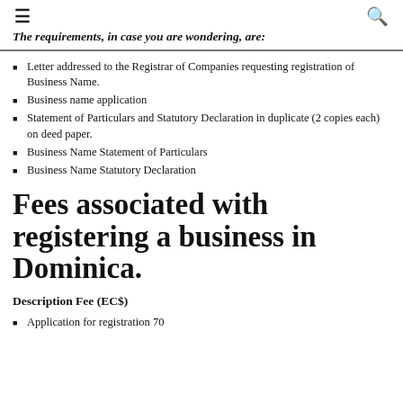≡  🔍
The requirements, in case you are wondering, are:
Letter addressed to the Registrar of Companies requesting registration of Business Name.
Business name application
Statement of Particulars and Statutory Declaration in duplicate (2 copies each) on deed paper.
Business Name Statement of Particulars
Business Name Statutory Declaration
Fees associated with registering a business in Dominica.
Description Fee (EC$)
Application for registration 70